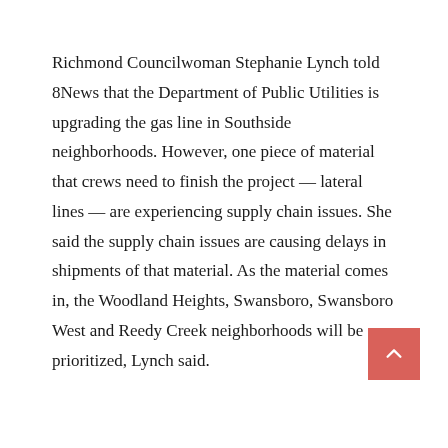Richmond Councilwoman Stephanie Lynch told 8News that the Department of Public Utilities is upgrading the gas line in Southside neighborhoods. However, one piece of material that crews need to finish the project — lateral lines — are experiencing supply chain issues. She said the supply chain issues are causing delays in shipments of that material. As the material comes in, the Woodland Heights, Swansboro, Swansboro West and Reedy Creek neighborhoods will be prioritized, Lynch said.